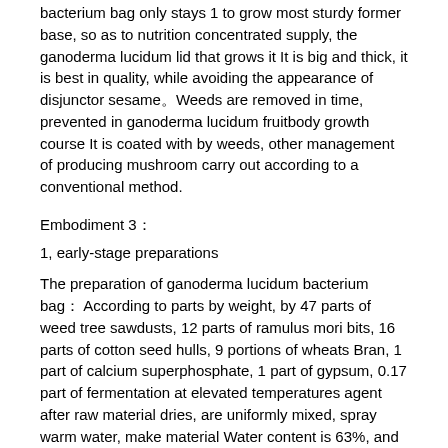bacterium bag only stays 1 to grow most sturdy former base, so as to nutrition concentrated supply, the ganoderma lucidum lid that grows it It is big and thick, it is best in quality, while avoiding the appearance of disjunctor sesame。Weeds are removed in time, prevented in ganoderma lucidum fruitbody growth course It is coated with by weeds, other management of producing mushroom carry out according to a conventional method.
Embodiment 3：
1, early-stage preparations
The preparation of ganoderma lucidum bacterium bag： According to parts by weight, by 47 parts of weed tree sawdusts, 12 parts of ramulus mori bits, 16 parts of cotton seed hulls, 9 portions of wheats Bran, 1 part of calcium superphosphate, 1 part of gypsum, 0.17 part of fermentation at elevated temperatures agent after raw material dries, are uniformly mixed, spray warm water, make material Water content is 63%, and adjusting pH value is 8.0, obtains compost, and it is 230mm × 450mm, thickness that compost, which is then packed into length × width, Degree is the bacterium bag of 0.025mm, makes